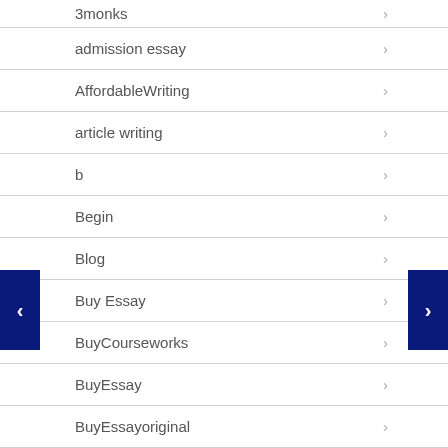3monks
admission essay
AffordableWriting
article writing
b
Begin
Blog
Buy Essay
BuyCourseworks
BuyEssay
BuyEssayoriginal
CoolWriter